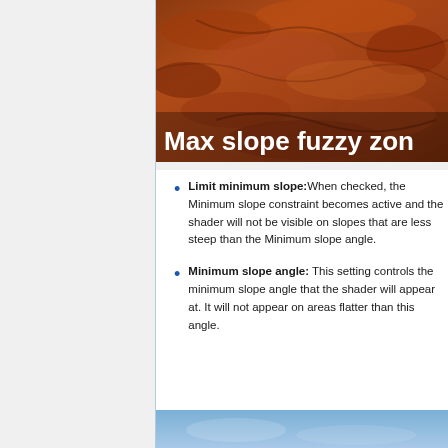[Figure (photo): Aerial or close-up photo of reddish-brown rocky/dirt terrain with white bold text overlay reading 'Max slope fuzzy zon' (text cropped at right edge)]
Limit minimum slope: When checked, the Minimum slope constraint becomes active and the shader will not be visible on slopes that are less steep than the Minimum slope angle.
Minimum slope angle: This setting controls the minimum slope angle that the shader will appear at. It will not appear on areas flatter than this angle.
[Figure (photo): Partial view of a blue-sky landscape image at the bottom of the page]